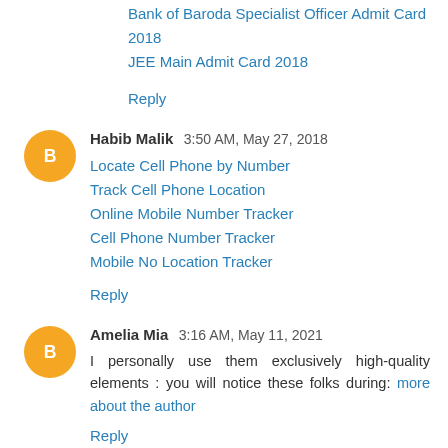Bank of Baroda Specialist Officer Admit Card 2018
JEE Main Admit Card 2018
Reply
Habib Malik  3:50 AM, May 27, 2018
Locate Cell Phone by Number
Track Cell Phone Location
Online Mobile Number Tracker
Cell Phone Number Tracker
Mobile No Location Tracker
Reply
Amelia Mia  3:16 AM, May 11, 2021
I personally use them exclusively high-quality elements : you will notice these folks during: more about the author
Reply